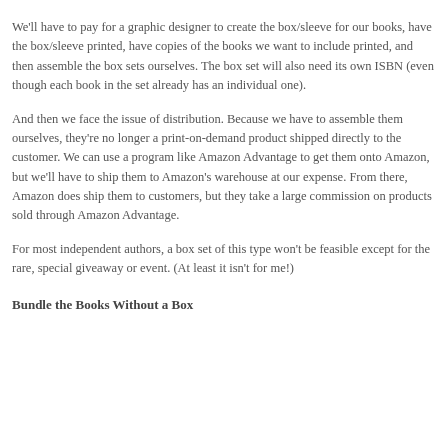We'll have to pay for a graphic designer to create the box/sleeve for our books, have the box/sleeve printed, have copies of the books we want to include printed, and then assemble the box sets ourselves. The box set will also need its own ISBN (even though each book in the set already has an individual one).
And then we face the issue of distribution. Because we have to assemble them ourselves, they're no longer a print-on-demand product shipped directly to the customer. We can use a program like Amazon Advantage to get them onto Amazon, but we'll have to ship them to Amazon's warehouse at our expense. From there, Amazon does ship them to customers, but they take a large commission on products sold through Amazon Advantage.
For most independent authors, a box set of this type won't be feasible except for the rare, special giveaway or event. (At least it isn't for me!)
Bundle the Books Without a Box